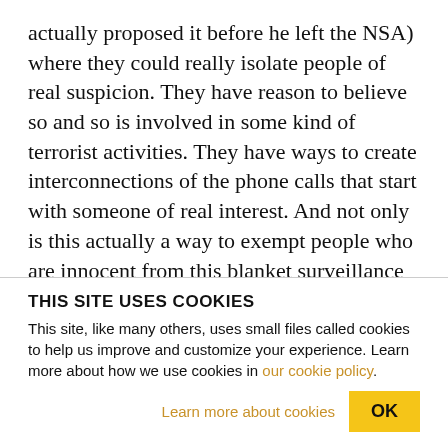actually proposed it before he left the NSA) where they could really isolate people of real suspicion. They have reason to believe so and so is involved in some kind of terrorist activities. They have ways to create interconnections of the phone calls that start with someone of real interest. And not only is this actually a way to exempt people who are innocent from this blanket surveillance and thus actually defend people's constitutional rights, but it's also way more effective. As you say said in the beginning, if you have too much data, as Binney said, if you're
THIS SITE USES COOKIES
This site, like many others, uses small files called cookies to help us improve and customize your experience. Learn more about how we use cookies in our cookie policy.
Learn more about cookies  OK